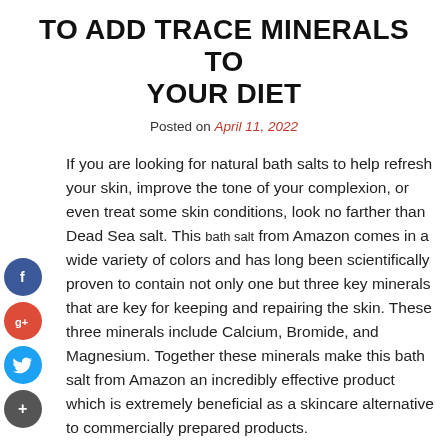TO ADD TRACE MINERALS TO YOUR DIET
Posted on April 11, 2022
If you are looking for natural bath salts to help refresh your skin, improve the tone of your complexion, or even treat some skin conditions, look no farther than Dead Sea salt. This bath salt from Amazon comes in a wide variety of colors and has long been scientifically proven to contain not only one but three key minerals that are key for keeping and repairing the skin. These three minerals include Calcium, Bromide, and Magnesium. Together these minerals make this bath salt from Amazon an incredibly effective product which is extremely beneficial as a skincare alternative to commercially prepared products.